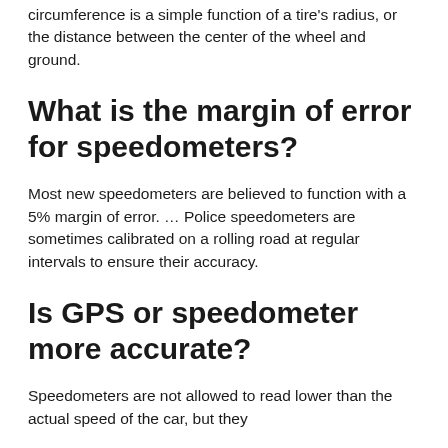circumference is a simple function of a tire's radius, or the distance between the center of the wheel and ground.
What is the margin of error for speedometers?
Most new speedometers are believed to function with a 5% margin of error. … Police speedometers are sometimes calibrated on a rolling road at regular intervals to ensure their accuracy.
Is GPS or speedometer more accurate?
Speedometers are not allowed to read lower than the actual speed of the car, but they